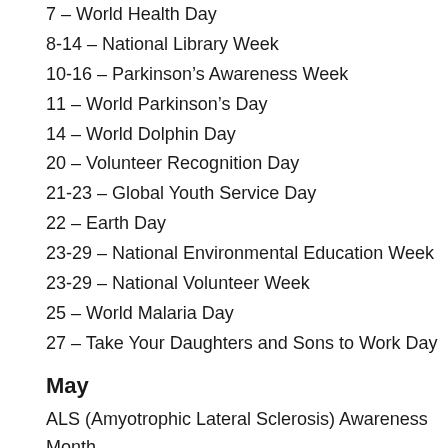7 – World Health Day
8-14 – National Library Week
10-16 – Parkinson's Awareness Week
11 – World Parkinson's Day
14 – World Dolphin Day
20 – Volunteer Recognition Day
21-23 – Global Youth Service Day
22 – Earth Day
23-29 – National Environmental Education Week
23-29 – National Volunteer Week
25 – World Malaria Day
27 – Take Your Daughters and Sons to Work Day
May
ALS (Amyotrophic Lateral Sclerosis) Awareness Month
Asian and Pacific Islander Heritage Month
Better Hearing and Speech Month